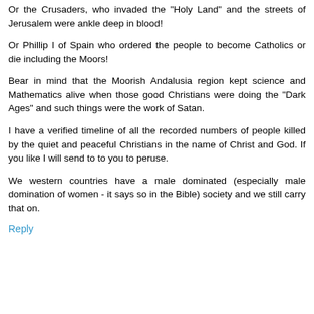Or the Crusaders, who invaded the "Holy Land" and the streets of Jerusalem were ankle deep in blood!
Or Phillip I of Spain who ordered the people to become Catholics or die including the Moors!
Bear in mind that the Moorish Andalusia region kept science and Mathematics alive when those good Christians were doing the "Dark Ages" and such things were the work of Satan.
I have a verified timeline of all the recorded numbers of people killed by the quiet and peaceful Christians in the name of Christ and God. If you like I will send to to you to peruse.
We western countries have a male dominated (especially male domination of women - it says so in the Bible) society and we still carry that on.
Reply